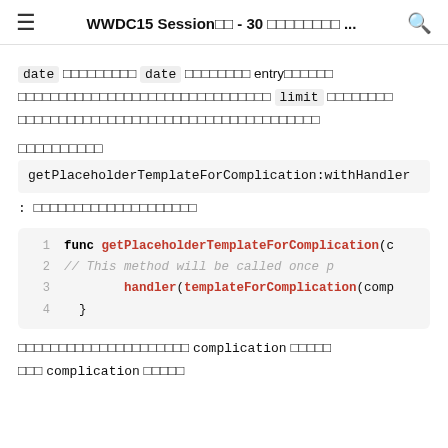≡  WWDC15 Session□□ - 30 □□□□□□□□□ ...  🔍
date □□□□□□□□□ date □□□□□□□□ entry□□□□□□ □□□□□□□□□□□□□□□□□□□□□□□□□□□□□ limit □□□□□□□□ □□□□□□□□□□□□□□□□□□□□□□□□□□□□□□□□□
□□□□□□□□□□
getPlaceholderTemplateForComplication:withHandler:  □□□□□□□□□□□□□□□□□□□□
[Figure (screenshot): Code block showing Swift function getPlaceholderTemplateForComplication with 4 lines]
□□□□□□□□□□□□□□□□□□□□□ complication □□□□□ □□□ complication □□□□□